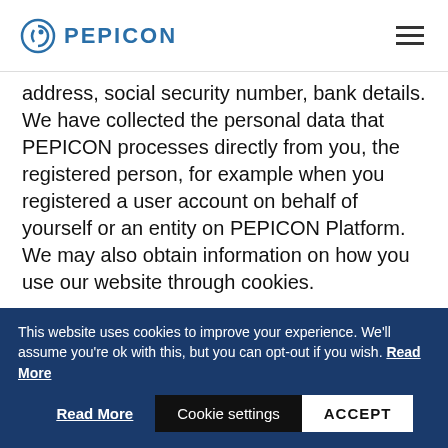PEPICON
address, social security number, bank details. We have collected the personal data that PEPICON processes directly from you, the registered person, for example when you registered a user account on behalf of yourself or an entity on PEPICON Platform. We may also obtain information on how you use our website through cookies.
PEPICON always strives to process as little
This website uses cookies to improve your experience. We'll assume you're ok with this, but you can opt-out if you wish. Read More
Cookie settings
ACCEPT